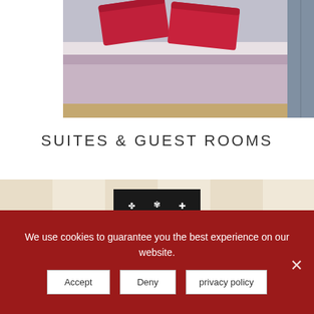[Figure (photo): Hotel bedroom photo showing a bed with red/pink pillows and purple/lavender bedspread, wardrobe visible on right side]
SUITES & GUEST ROOMS
[Figure (illustration): Heraldic repeating tile pattern in beige/cream tones with eagles, fleur-de-lis, and ornamental motifs]
[Figure (logo): Black square logo with heraldic design showing two birds flanking a vase/vessel with letter M and cross symbols]
We use cookies to guarantee you the best experience on our website.
Accept | Deny | privacy policy